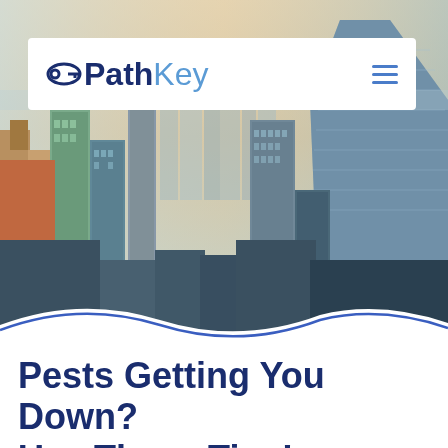[Figure (photo): Aerial city skyline panorama with tall skyscrapers under a warm hazy sky, likely New York City]
PathKey
Pests Getting You Down? Use These Tips!